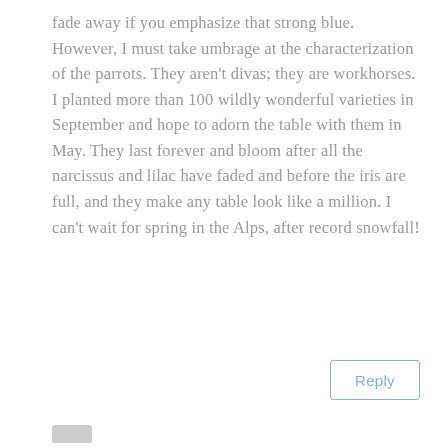fade away if you emphasize that strong blue. However, I must take umbrage at the characterization of the parrots. They aren't divas; they are workhorses. I planted more than 100 wildly wonderful varieties in September and hope to adorn the table with them in May. They last forever and bloom after all the narcissus and lilac have faded and before the iris are full, and they make any table look like a million. I can't wait for spring in the Alps, after record snowfall!
Reply